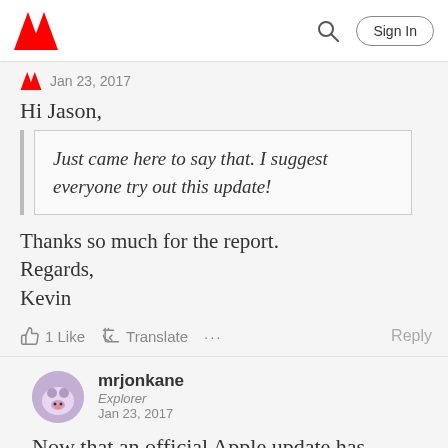Adobe community page header with logo, search, and Sign In button
Jan 23, 2017
Hi Jason,
Just came here to say that. I suggest everyone try out this update!
Thanks so much for the report.
Regards,
Kevin
1 Like   Translate   ...   Reply
mrjonkane
Explorer
Jan 23, 2017
Now that an official Apple update has